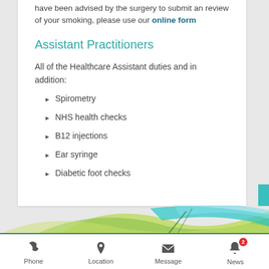have been advised by the surgery to submit an review of your smoking, please use our online form
Assistant Practitioners
All of the Healthcare Assistant duties and in addition:
Spirometry
NHS health checks
B12 injections
Ear syringe
Diabetic foot checks
Phone  Location  Message  News